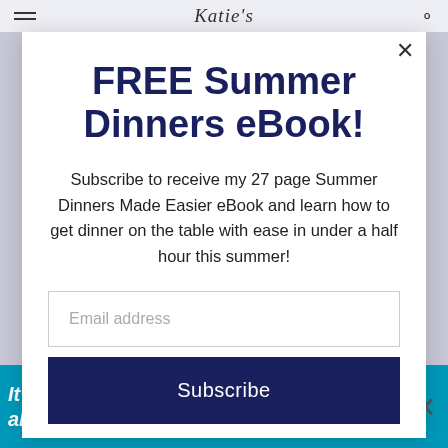Katie's [blog logo]
FREE Summer Dinners eBook!
Subscribe to receive my 27 page Summer Dinners Made Easier eBook and learn how to get dinner on the table with ease in under a half hour this summer!
Email address
Subscribe
[Figure (screenshot): Advertisement banner: It's time to talk about Alzheimer's. LEARN MORE. Alzheimer's Association logo.]